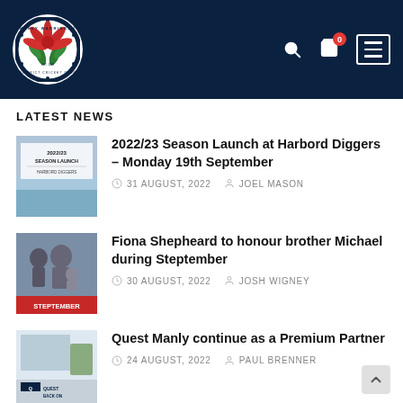[Figure (logo): Manly Warringah District Cricket Club circular logo with protea flower design]
Manly Warringah District Cricket Club website header with logo, search icon, cart icon (0), and menu button
LATEST NEWS
2022/23 Season Launch at Harbord Diggers – Monday 19th September
31 AUGUST, 2022  JOEL MASON
Fiona Shepheard to honour brother Michael during Steptember
30 AUGUST, 2022  JOSH WIGNEY
Quest Manly continue as a Premium Partner
24 AUGUST, 2022  PAUL BRENNER
Waratah enter 2022 Beach2Beach